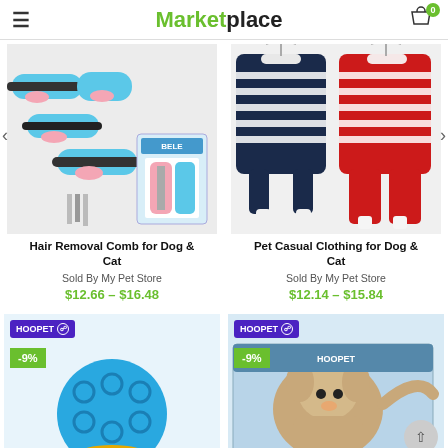Marketplace
[Figure (photo): Hair removal combs for dog and cat — blue and pink handles with grooming attachments]
Hair Removal Comb for Dog & Cat
Sold By My Pet Store
$12.66 – $16.48
[Figure (photo): Pet casual clothing for dog and cat — navy striped and red striped outfits on hangers]
Pet Casual Clothing for Dog & Cat
Sold By My Pet Store
$12.14 – $15.84
[Figure (photo): Hoopet blue ball toy for pets with -9% discount badge]
[Figure (photo): Hoopet pet product box with dog image and -9% discount badge]